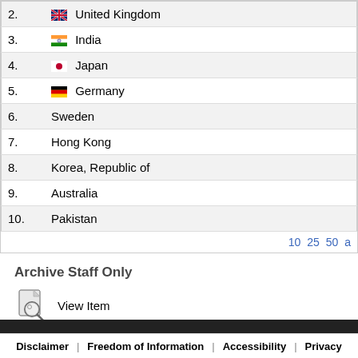| # | Country |
| --- | --- |
| 2. | United Kingdom |
| 3. | India |
| 4. | Japan |
| 5. | Germany |
| 6. | Sweden |
| 7. | Hong Kong |
| 8. | Korea, Republic of |
| 9. | Australia |
| 10. | Pakistan |
10 25 50 a
Archive Staff Only
View Item
Disclaimer | Freedom of Information | Accessibility | Privacy